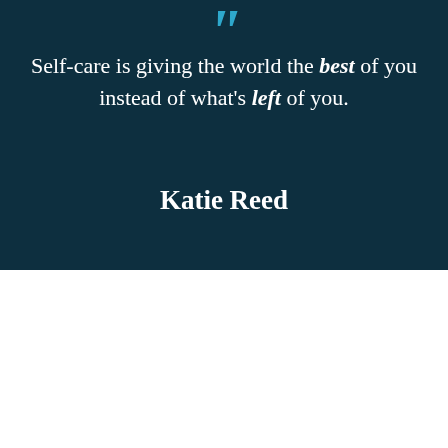Self-care is giving the world the best of you instead of what's left of you.
Katie Reed